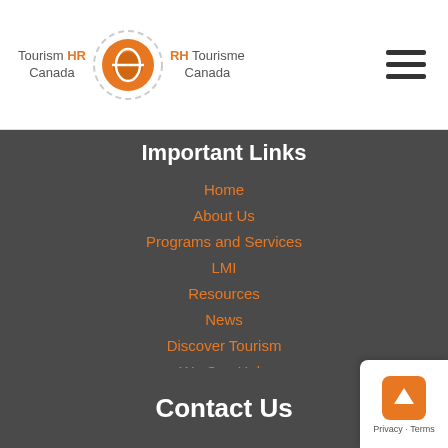[Figure (logo): Tourism HR Canada logo with circular orange and grey icon, and RH Tourisme Canada text]
Important Links
Home
About Us
Programs and Services
LMI
Resources
News
Discover Tourism
We Can Help
Careers
Contact Us